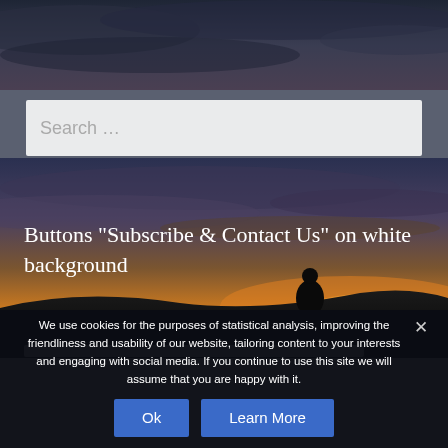[Figure (screenshot): Top dark banner area showing partial website header with dark storm cloud background]
[Figure (screenshot): Search bar with placeholder text 'Search ...' on light gray background]
[Figure (photo): Hero image of person silhouetted against sunset/dramatic sky landscape]
Buttons "Subscribe & Contact Us" on white background
We use cookies for the purposes of statistical analysis, improving the friendliness and usability of our website, tailoring content to your interests and engaging with social media. If you continue to use this site we will assume that you are happy with it.
Ok
Learn More